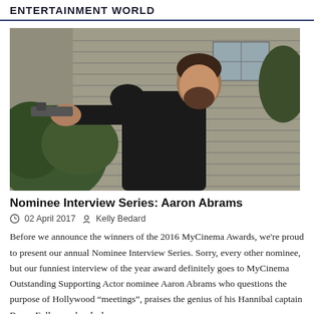ENTERTAINMENT WORLD
[Figure (photo): A man in a black t-shirt holding a gun and pointing it outward, standing in front of a house with grey siding and greenery in the background.]
Nominee Interview Series: Aaron Abrams
02 April 2017  Kelly Bedard
Before we announce the winners of the 2016 MyCinema Awards, we're proud to present our annual Nominee Interview Series. Sorry, every other nominee, but our funniest interview of the year award definitely goes to MyCinema Outstanding Supporting Actor nominee Aaron Abrams who questions the purpose of Hollywood “meetings”, praises the genius of his Hannibal captain Bryan Fuller, noshes [...]